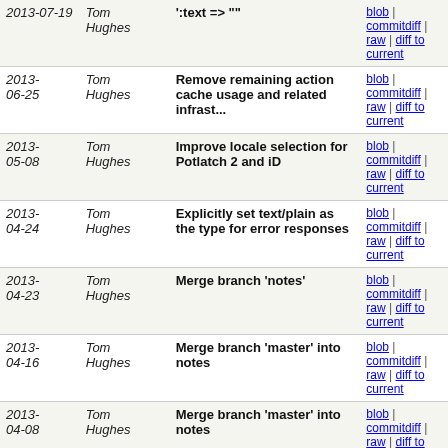| Date | Author | Message | Links |
| --- | --- | --- | --- |
| 2013-07-19 | Tom Hughes | ':text => "" | blob | commitdiff | raw | diff to current |
| 2013-06-25 | Tom Hughes | Remove remaining action cache usage and related infrast... | blob | commitdiff | raw | diff to current |
| 2013-05-08 | Tom Hughes | Improve locale selection for Potlatch 2 and iD | blob | commitdiff | raw | diff to current |
| 2013-04-24 | Tom Hughes | Explicitly set text/plain as the type for error responses | blob | commitdiff | raw | diff to current |
| 2013-04-23 | Tom Hughes | Merge branch 'notes' | blob | commitdiff | raw | diff to current |
| 2013-04-16 | Tom Hughes | Merge branch 'master' into notes | blob | commitdiff | raw | diff to current |
| 2013-04-08 | Tom Hughes | Merge branch 'master' into notes | blob | commitdiff | raw | diff to current |
| 2013-04-02 | Matt Amos | Added database, API and GPX status to capabilities. | blob | commitdiff | raw | diff to current |
| 2013-03-28 | Tom Hughes | Add a new write_notes permission needed for OAuth acces... | blob | commitdiff | raw | diff to current |
| 2013-03-28 | Tom Hughes | Merge branch 'master' into notes | blob | commitdiff | raw | diff to current |
| 2013-03-28 | Tom Hughes | Add javascript OAuth support | blob | commitdiff |